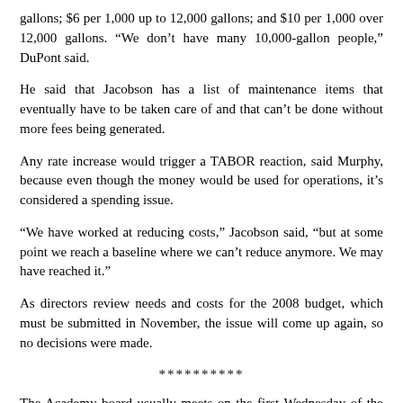gallons; $6 per 1,000 up to 12,000 gallons; and $10 per 1,000 over 12,000 gallons. "We don’t have many 10,000-gallon people," DuPont said.
He said that Jacobson has a list of maintenance items that eventually have to be taken care of and that can’t be done without more fees being generated.
Any rate increase would trigger a TABOR reaction, said Murphy, because even though the money would be used for operations, it’s considered a spending issue.
"We have worked at reducing costs," Jacobson said, "but at some point we reach a baseline where we can’t reduce anymore. We may have reached it."
As directors review needs and costs for the 2008 budget, which must be submitted in November, the issue will come up again, so no decisions were made.
**********
The Academy board usually meets on the first Wednesday of the month. The next meeting will be Sept. 5 at 7 p.m. at the Wescott fire station on Sun Hills Drive.